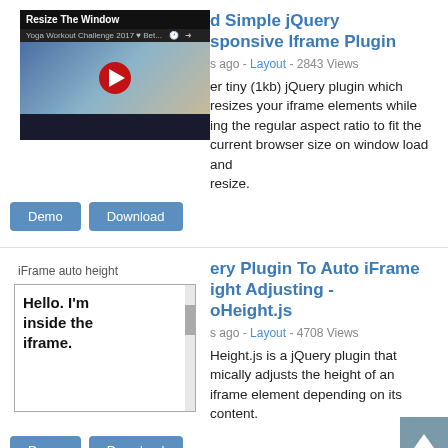[Figure (screenshot): Video thumbnail showing 'Resize The Window' with a yoga workout video]
Advanced Simple jQuery Responsive Iframe Plugin
3 years ago - Layout - 2843 Views
A super tiny (1kb) jQuery plugin which automatically resizes your iframe elements while maintaining the regular aspect ratio to fit the current browser size on window load and resize.
Demo
Download
[Figure (screenshot): iFrame auto height preview showing 'Hello. I'm inside the iframe.' text]
jQuery Plugin To Auto iFrame Height Adjusting - iAutoHeight.js
3 years ago - Layout - 4708 Views
iAutoHeight.js is a jQuery plugin that dynamically adjusts the height of an iframe element depending on its content.
Demo
Download